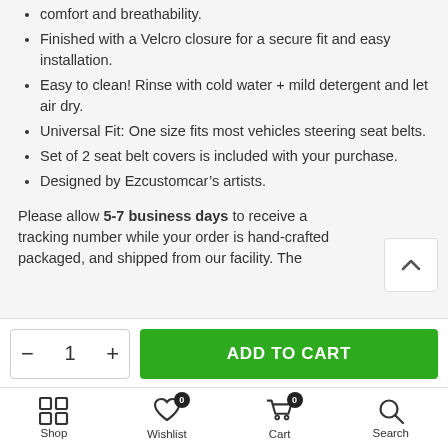comfort and breathability.
Finished with a Velcro closure for a secure fit and easy installation.
Easy to clean! Rinse with cold water + mild detergent and let air dry.
Universal Fit: One size fits most vehicles steering seat belts.
Set of 2 seat belt covers is included with your purchase.
Designed by Ezcustomcar’s artists.
Please allow 5-7 business days to receive a tracking number while your order is hand-crafted packaged, and shipped from our facility. The